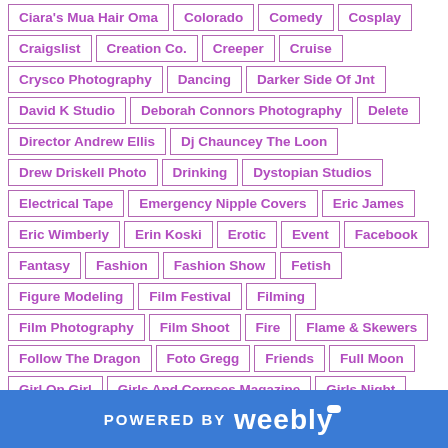Ciara's Mua Hair Oma
Colorado
Comedy
Cosplay
Craigslist
Creation Co.
Creeper
Cruise
Crysco Photography
Dancing
Darker Side Of Jnt
David K Studio
Deborah Connors Photography
Delete
Director Andrew Ellis
Dj Chauncey The Loon
Drew Driskell Photo
Drinking
Dystopian Studios
Electrical Tape
Emergency Nipple Covers
Eric James
Eric Wimberly
Erin Koski
Erotic
Event
Facebook
Fantasy
Fashion
Fashion Show
Fetish
Figure Modeling
Film Festival
Filming
Film Photography
Film Shoot
Fire
Flame & Skewers
Follow The Dragon
Foto Gregg
Friends
Full Moon
Girl On Girl
Girls And Corpses Magazine
Girls Night
Glamour
Glamour Photography
Go Go Dancing
Go-Go Dancing
POWERED BY weebly